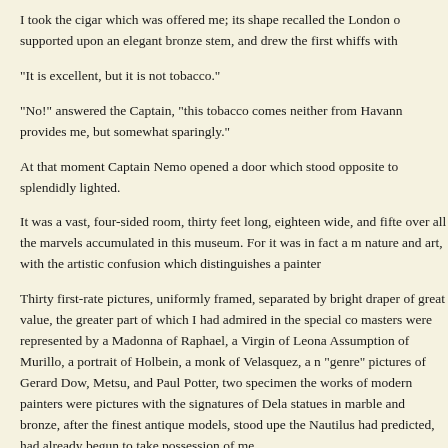I took the cigar which was offered me; its shape recalled the London o supported upon an elegant bronze stem, and drew the first whiffs with
"It is excellent, but it is not tobacco."
"No!" answered the Captain, "this tobacco comes neither from Havann provides me, but somewhat sparingly."
At that moment Captain Nemo opened a door which stood opposite to splendidly lighted.
It was a vast, four-sided room, thirty feet long, eighteen wide, and fifte over all the marvels accumulated in this museum. For it was in fact a m nature and art, with the artistic confusion which distinguishes a painter
Thirty first-rate pictures, uniformly framed, separated by bright draper of great value, the greater part of which I had admired in the special co masters were represented by a Madonna of Raphael, a Virgin of Leona Assumption of Murillo, a portrait of Holbein, a monk of Velasquez, a n "genre" pictures of Gerard Dow, Metsu, and Paul Potter, two specimen the works of modern painters were pictures with the signatures of Dela statues in marble and bronze, after the finest antique models, stood upe the Nautilus had predicted, had already begun to take possession of me
"Professor," said this strange man, "you must excuse the unceremonion
"N..." answered...